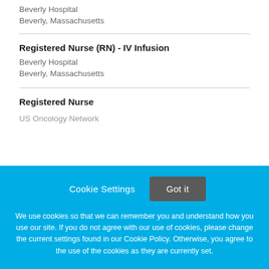Beverly Hospital
Beverly, Massachusetts
Registered Nurse (RN) - IV Infusion
Beverly Hospital
Beverly, Massachusetts
Registered Nurse
US Oncology Network
Cookie Settings   Got it
We use cookies so that we can remember you and understand how you use our site. If you do not agree with our use of cookies, please change the current settings found in our Cookie Policy. Otherwise, you agree to the use of the cookies as they are currently set.